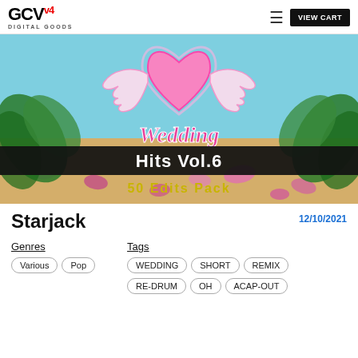GCV4 DIGITAL GOODS — VIEW CART
[Figure (illustration): Wedding Hits Vol.6 50 Edits Pack promotional banner. Features a beach background with tropical plants, pink rose petals, a glowing pink heart with wings in the center, cursive pink 'Wedding' text, bold white 'Hits Vol.6' on black banner, and golden 'So Edits Pack' text at the bottom.]
Starjack
12/10/2021
Genres
Various
Pop
Tags
WEDDING
SHORT
REMIX
RE-DRUM
OH
ACAP-OUT